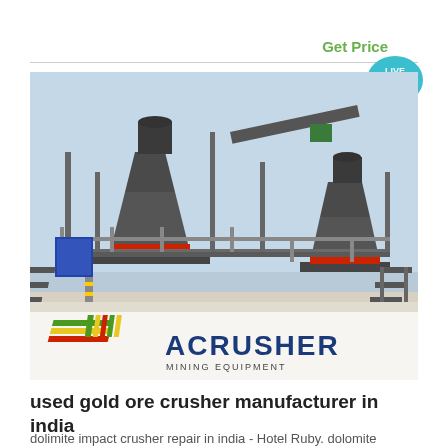Get Price
[Figure (illustration): Live Chat speech bubble icon with text LIVE CHAT in teal/cyan color]
[Figure (photo): Industrial mining crusher equipment facility with large cone crushers on elevated steel platform structure, branded with ACRUSHER MINING EQUIPMENT logo overlay]
used gold ore crusher manufacturer in india
dolimite impact crusher repair in india - Hotel Ruby. dolomite